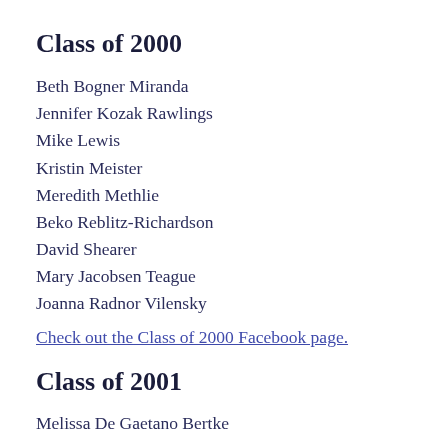Class of 2000
Beth Bogner Miranda
Jennifer Kozak Rawlings
Mike Lewis
Kristin Meister
Meredith Methlie
Beko Reblitz-Richardson
David Shearer
Mary Jacobsen Teague
Joanna Radnor Vilensky
Check out the Class of 2000 Facebook page.
Class of 2001
Melissa De Gaetano Bertke